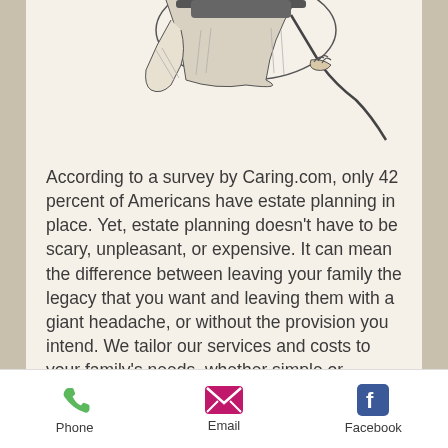[Figure (illustration): Vintage black-and-white line illustration of a person's hands and suit, partially cropped at the top of the page]
According to a survey by Caring.com, only 42 percent of Americans have estate planning in place. Yet, estate planning doesn't have to be scary, unpleasant, or expensive. It can mean the difference between leaving your family the legacy that you want and leaving them with a giant headache, or without the provision you intend. We tailor our services and costs to your family's needs, whether simple or complex.
Phone  Email  Facebook